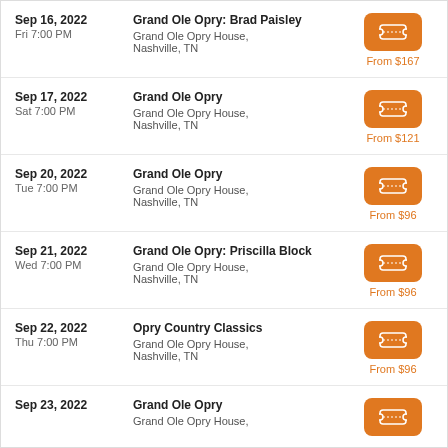Sep 16, 2022 Fri 7:00 PM | Grand Ole Opry: Brad Paisley | Grand Ole Opry House, Nashville, TN | From $167
Sep 17, 2022 Sat 7:00 PM | Grand Ole Opry | Grand Ole Opry House, Nashville, TN | From $121
Sep 20, 2022 Tue 7:00 PM | Grand Ole Opry | Grand Ole Opry House, Nashville, TN | From $96
Sep 21, 2022 Wed 7:00 PM | Grand Ole Opry: Priscilla Block | Grand Ole Opry House, Nashville, TN | From $96
Sep 22, 2022 Thu 7:00 PM | Opry Country Classics | Grand Ole Opry House, Nashville, TN | From $96
Sep 23, 2022 | Grand Ole Opry | Grand Ole Opry House